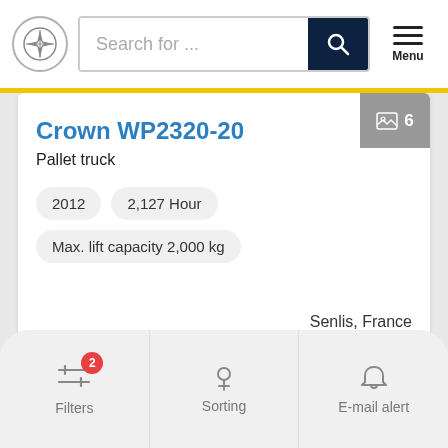Search for ...
Crown WP2320-20
Pallet truck
2012
2,127 Hour
Max. lift capacity 2,000 kg
Senlis, France
Price on request
Filters  Sorting  E-mail alert